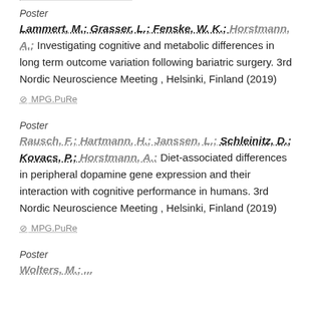…………………………………………
Poster
Lammert, M.; Grasser, L.; Fenske, W. K.; Horstmann, A.: Investigating cognitive and metabolic differences in long term outcome variation following bariatric surgery. 3rd Nordic Neuroscience Meeting , Helsinki, Finland (2019)
⊘ MPG.PuRe
Poster
Rausch, F.; Hartmann, H.; Janssen, L.; Schleinitz, D.; Kovacs, P.; Horstmann, A.: Diet-associated differences in peripheral dopamine gene expression and their interaction with cognitive performance in humans. 3rd Nordic Neuroscience Meeting , Helsinki, Finland (2019)
⊘ MPG.PuRe
Poster
Wolters, M.; ...